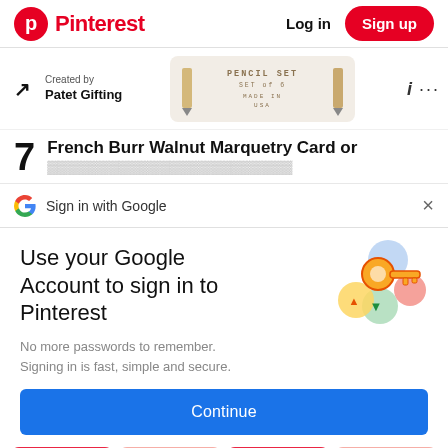Pinterest  Log in  Sign up
[Figure (screenshot): Pencil set product image showing a box labeled PENCIL SET SET of 6 MADE IN USA]
Created by
Patet Gifting
7  French Burr Walnut Marquetry Card or
Sign in with Google
Use your Google Account to sign in to Pinterest
No more passwords to remember.
Signing in is fast, simple and secure.
[Figure (illustration): Google key illustration with colorful circles and a golden key]
Continue